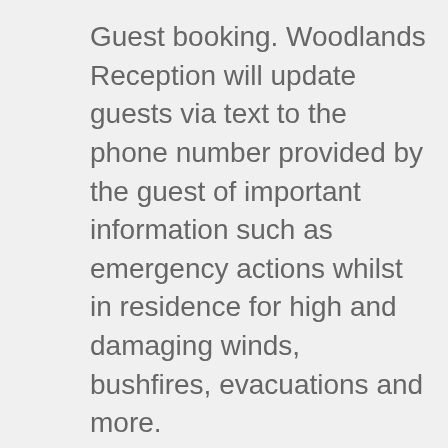Guest booking. Woodlands Reception will update guests via text to the phone number provided by the guest of important information such as emergency actions whilst in residence for high and damaging winds, bushfires, evacuations and more.
Woodlands does not send out reminders as to when funds will be taken to include initial deposits, balance and pre-authorisations as this is communicated within Booking Terms & Conditions and reinforced again in the first